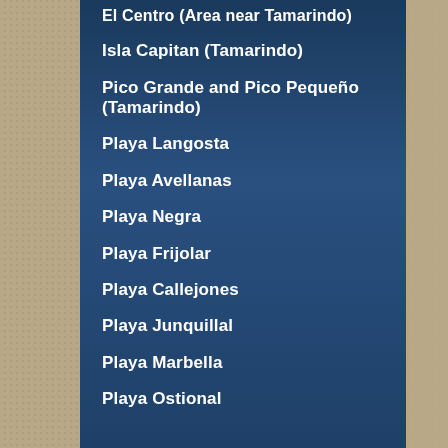El Centro (Area near Tamarindo)
Isla Capitan (Tamarindo)
Pico Grande and Pico Pequeño (Tamarindo)
Playa Langosta
Playa Avellanas
Playa Negra
Playa Frijolar
Playa Callejones
Playa Junquillal
Playa Marbella
Playa Ostional